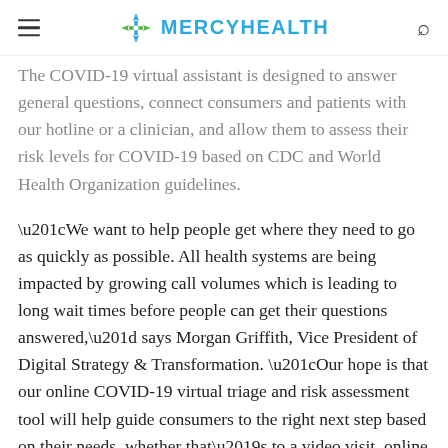MERCYHEALTH
The COVID-19 virtual assistant is designed to answer general questions, connect consumers and patients with our hotline or a clinician, and allow them to assess their risk levels for COVID-19 based on CDC and World Health Organization guidelines.
“We want to help people get where they need to go as quickly as possible. All health systems are being impacted by growing call volumes which is leading to long wait times before people can get their questions answered,” says Morgan Griffith, Vice President of Digital Strategy & Transformation. “Our hope is that our online COVID-19 virtual triage and risk assessment tool will help guide consumers to the right next step based on their needs, whether that’s to a video visit, online resources, or a phone call with a clinician.”